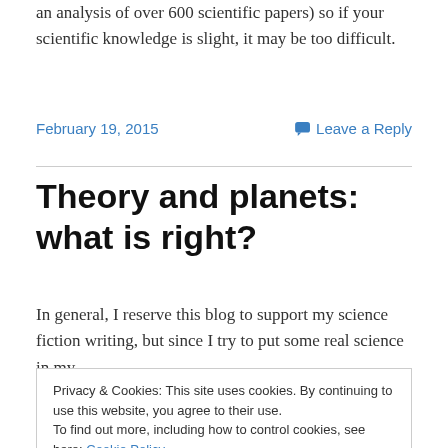an analysis of over 600 scientific papers) so if your scientific knowledge is slight, it may be too difficult.
February 19, 2015
Leave a Reply
Theory and planets: what is right?
In general, I reserve this blog to support my science fiction writing, but since I try to put some real science in my
Privacy & Cookies: This site uses cookies. By continuing to use this website, you agree to their use.
To find out more, including how to control cookies, see here: Cookie Policy
Close and accept
first principles and satisfies themselves, and how many